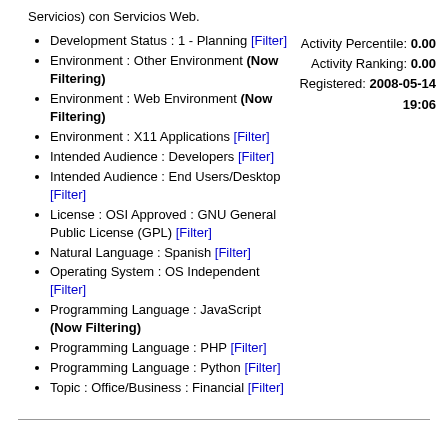Servicios) con Servicios Web.
Development Status : 1 - Planning [Filter]
Environment : Other Environment (Now Filtering)
Environment : Web Environment (Now Filtering)
Environment : X11 Applications [Filter]
Intended Audience : Developers [Filter]
Intended Audience : End Users/Desktop [Filter]
License : OSI Approved : GNU General Public License (GPL) [Filter]
Natural Language : Spanish [Filter]
Operating System : OS Independent [Filter]
Programming Language : JavaScript (Now Filtering)
Programming Language : PHP [Filter]
Programming Language : Python [Filter]
Topic : Office/Business : Financial [Filter]
Activity Percentile: 0.00 Activity Ranking: 0.00 Registered: 2008-05-14 19:06